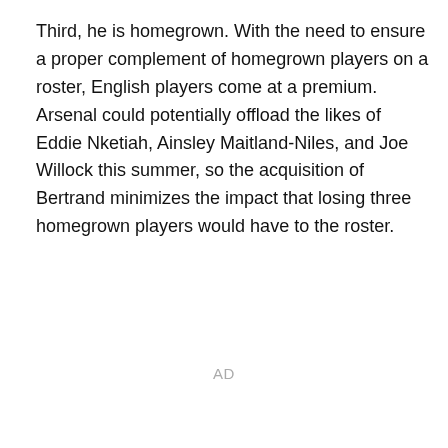Third, he is homegrown. With the need to ensure a proper complement of homegrown players on a roster, English players come at a premium. Arsenal could potentially offload the likes of Eddie Nketiah, Ainsley Maitland-Niles, and Joe Willock this summer, so the acquisition of Bertrand minimizes the impact that losing three homegrown players would have to the roster.
AD